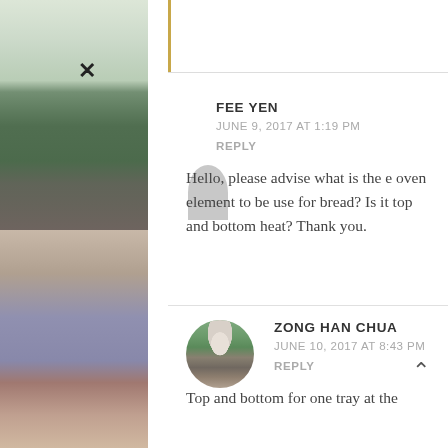×
FEE YEN
JUNE 9, 2017 AT 1:19 PM
REPLY
Hello, please advise what is the e oven element to be use for bread? Is it top and bottom heat? Thank you.
ZONG HAN CHUA
JUNE 10, 2017 AT 8:43 PM
REPLY
Top and bottom for one tray at the